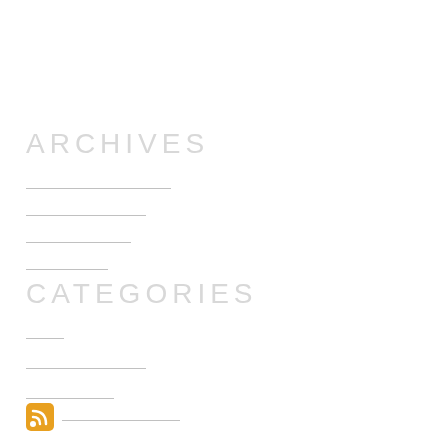ARCHIVES
CATEGORIES
[Figure (logo): RSS feed icon (orange square with white RSS symbol)]